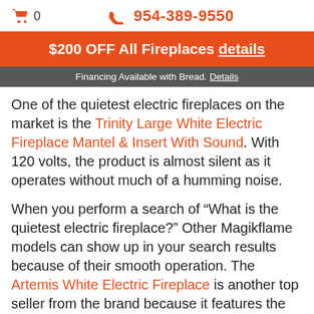0  954-389-9550
$200 OFF All Fireplaces details
Financing Available with Bread. Details
One of the quietest electric fireplaces on the market is the Trinity Large White Electric Fireplace Mantel & Insert With Sound. With 120 volts, the product is almost silent as it operates without much of a humming noise.
When you perform a search of “What is the quietest electric fireplace?” Other Magikflame models can show up in your search results because of their smooth operation. The Artemis White Electric Fireplace is another top seller from the brand because it features the same technology used in the...